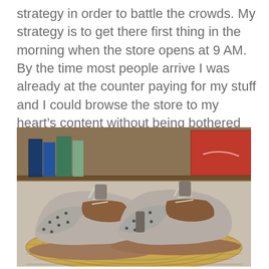strategy in order to battle the crowds. My strategy is to get there first thing in the morning when the store opens at 9 AM. By the time most people arrive I was already at the counter paying for my stuff and I could browse the store to my heart's content without being bothered by others. Here's what I got:
[Figure (photo): A pair of grey and brown two-tone brogue wingtip oxford shoes with cream/beige laces, placed on a woven wicker/rattan placemat or basket, with bookshelves visible in the background.]